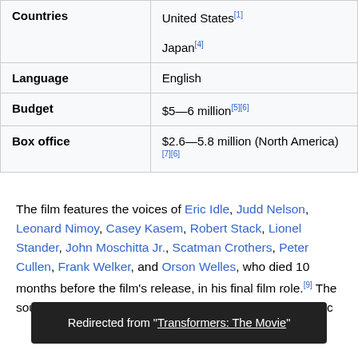|  |  |
| --- | --- |
| Countries | United States[1]
Japan[4] |
| Language | English |
| Budget | $5—6 million[5][6] |
| Box office | $2.6—5.8 million (North America)[7][6] |
The film features the voices of Eric Idle, Judd Nelson, Leonard Nimoy, Casey Kasem, Robert Stack, Lionel Stander, John Moschitta Jr., Scatman Crothers, Peter Cullen, Frank Welker, and Orson Welles, who died 10 months before the film's release, in his final film role.[9] The soundtrack comprises electronic music composed by Vince DiCola. The film's other contributions include...
Redirected from "Transformers: The Movie"